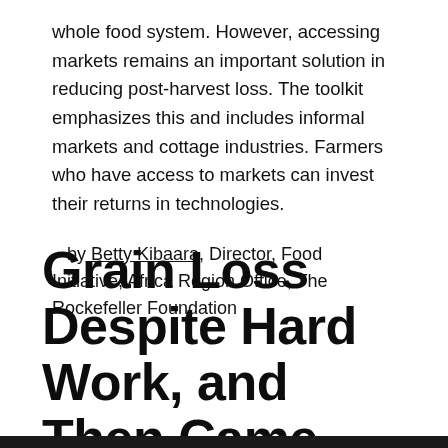whole food system. However, accessing markets remains an important solution in reducing post-harvest loss. The toolkit emphasizes this and includes informal markets and cottage industries. Farmers who have access to markets can invest their returns in technologies.
– by Betty Kibaara, Director, Food Initiative, Africa Region Office, The Rockefeller Foundation
Grain Loss Despite Hard Work, and Then Came Improved Processing and